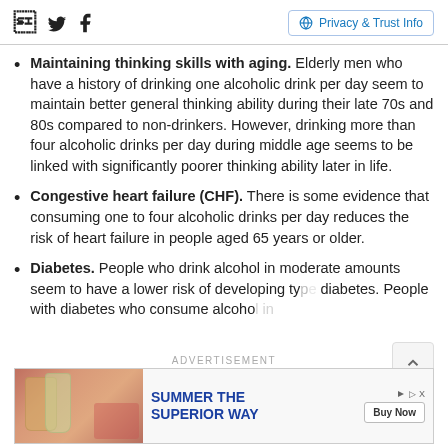Facebook Twitter | Privacy & Trust Info
Maintaining thinking skills with aging. Elderly men who have a history of drinking one alcoholic drink per day seem to maintain better general thinking ability during their late 70s and 80s compared to non-drinkers. However, drinking more than four alcoholic drinks per day during middle age seems to be linked with significantly poorer thinking ability later in life.
Congestive heart failure (CHF). There is some evidence that consuming one to four alcoholic drinks per day reduces the risk of heart failure in people aged 65 years or older.
Diabetes. People who drink alcohol in moderate amounts seem to have a lower risk of developing ty... diabetes. People with diabetes who consume alcoho... in
[Figure (infographic): Advertisement banner: summer beer/drinks scene on the left, text 'SUMMER THE SUPERIOR WAY' in blue on the right with a Buy Now button]
ADVERTISEMENT